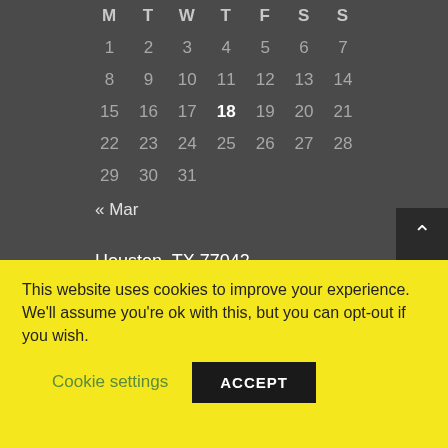| M | T | W | T | F | S | S |
| --- | --- | --- | --- | --- | --- | --- |
| 1 | 2 | 3 | 4 | 5 | 6 | 7 |
| 8 | 9 | 10 | 11 | 12 | 13 | 14 |
| 15 | 16 | 17 | 18 | 19 | 20 | 21 |
| 22 | 23 | 24 | 25 | 26 | 27 | 28 |
| 29 | 30 | 31 |  |  |  |  |
« Mar
Houston, TX 77042
+1 832-452-8537
jerry@cdci-mediation.com
This website uses cookies to improve your experience. We'll assume you're ok with this, but you can opt-out if you wish.
Cookie settings
ACCEPT